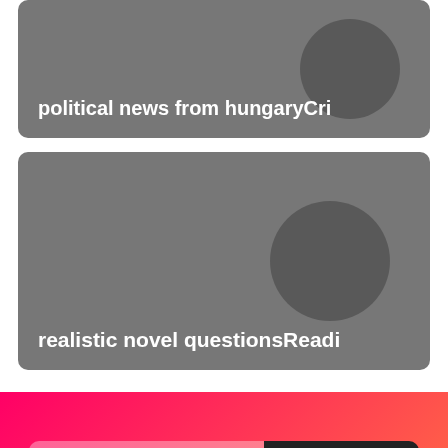[Figure (screenshot): Card with dark gray background and circle graphic showing text 'political news from hungaryCri']
[Figure (screenshot): Card with dark gray background and circle graphic showing text 'realistic novel questionsReadi']
Search..
SUBSCRIBE
powered by Novel Stories-The novel of